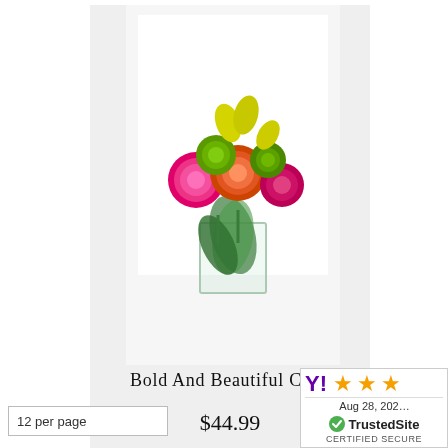[Figure (photo): Flower arrangement in a clear glass cube vase: pink roses, orange roses, green spider mums, yellow orchids on white background]
Bold And Beautiful Cube
$44.99
12 per page
[Figure (logo): TrustedSite certified secure badge with Yahoo shopping stars rating, Aug 28, 202x]
CERTIFIED SECURE